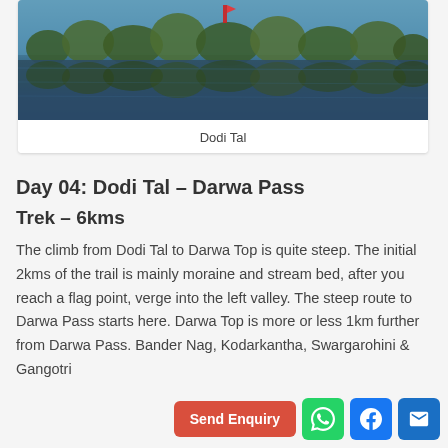[Figure (photo): Dodi Tal lake with reflections of trees and sky in dark water]
Dodi Tal
Day 04: Dodi Tal – Darwa Pass
Trek – 6kms
The climb from Dodi Tal to Darwa Top is quite steep. The initial 2kms of the trail is mainly moraine and stream bed, after you reach a flag point, verge into the left valley. The steep route to Darwa Pass starts here. Darwa Top is more or less 1km further from Darwa Pass. Bander Nag, Kodarkantha, Swargarohini & Gangotri